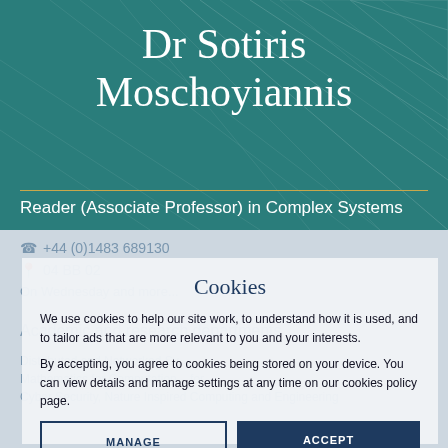Dr Sotiris Moschoyiannis
Reader (Associate Professor) in Complex Systems
+44 (0)1483 689130
04 BB 02
On Wednesday and more...
Academic and research departments
Distributed and Networked Systems
Mathematics for Computation and Computation for Cyber Security, Nature Inspired Computing and Engineering
Cookies
We use cookies to help our site work, to understand how it is used, and to tailor ads that are more relevant to you and your interests.
By accepting, you agree to cookies being stored on your device. You can view details and manage settings at any time on our cookies policy page.
MANAGE SETTINGS
ACCEPT